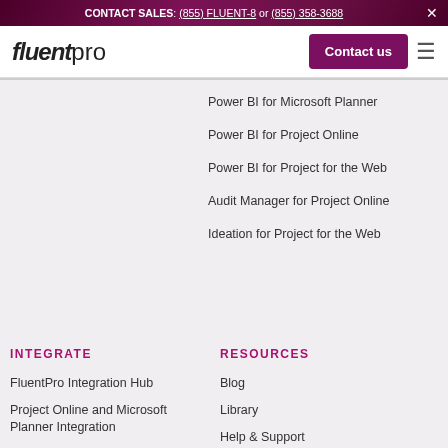CONTACT SALES: (855) FLUENT-8 or (855) 358-3688
[Figure (logo): FluentPro logo — italic bold 'fluent' followed by lighter 'pro' text]
Contact us
Power BI for Microsoft Planner
Power BI for Project Online
Power BI for Project for the Web
Audit Manager for Project Online
Ideation for Project for the Web
INTEGRATE
RESOURCES
FluentPro Integration Hub
Project Online and Microsoft Planner Integration
Blog
Library
Help & Support